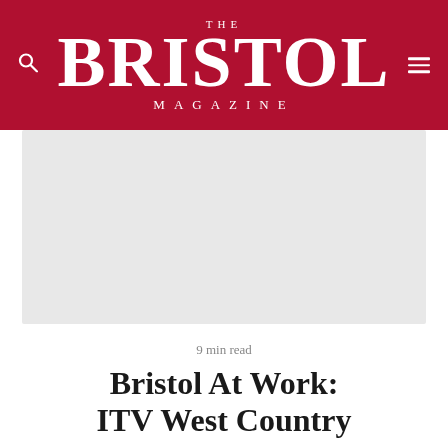THE BRISTOL MAGAZINE
[Figure (photo): Light grey placeholder image area for article hero image]
9 min read
Bristol At Work: ITV West Country